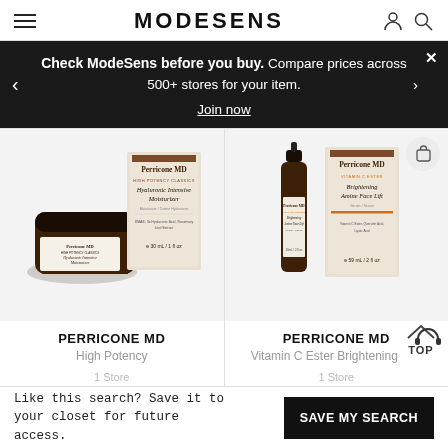MODESENS
Check ModeSens before you buy. Compare prices across 500+ stores for your item. Join now
[Figure (photo): Perricone MD High Potency Classics Hyaluronic Intensive Moisturizer product photo, jar and box, 30mL/1 fl oz]
[Figure (photo): Perricone MD Vitamin C Ester Brightening Amine Face Lift serum product photo, bottle and box, 59mL/2 fl oz]
PERRICONE MD
High Potency
1 Store
PERRICONE MD
Vitamin C Ester Brightening
1 Store
Like this search? Save it to your closet for future access.
SAVE MY SEARCH